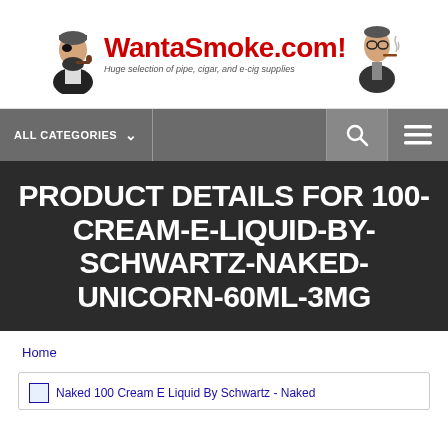[Figure (logo): WantaSmoke.com logo with pirate mascot on left, smoker illustration on right, red brand name text, and italic tagline 'Huge selection of pipe, cigar, and e-cig supplies']
ALL CATEGORIES  [search icon] [menu icon]
PRODUCT DETAILS FOR 100-CREAM-E-LIQUID-BY-SCHWARTZ-NAKED-UNICORN-60ML-3MG
Home
[Figure (photo): Product image placeholder for Naked 100 Cream E Liquid By Schwartz - Naked]
Naked 100 Cream E Liquid By Schwartz - Naked